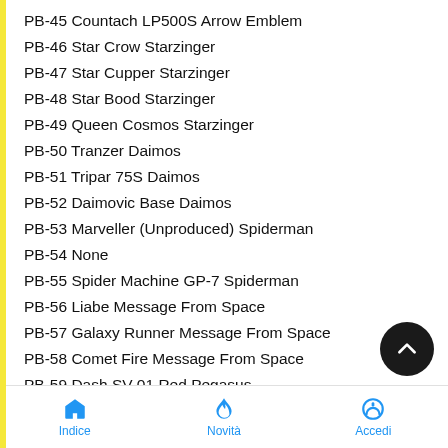PB-45 Countach LP500S Arrow Emblem
PB-46 Star Crow Starzinger
PB-47 Star Cupper Starzinger
PB-48 Star Bood Starzinger
PB-49 Queen Cosmos Starzinger
PB-50 Tranzer Daimos
PB-51 Tripar 75S Daimos
PB-52 Daimovic Base Daimos
PB-53 Marveller (Unproduced) Spiderman
PB-54 None
PB-55 Spider Machine GP-7 Spiderman
PB-56 Liabe Message From Space
PB-57 Galaxy Runner Message From Space
PB-58 Comet Fire Message From Space
PB-59 Dash SV-01 Red Pegasus
PB-60 None
PB-61 Citroen Lupin III
PB-62 Mercedes Benz SSK Lupin III
Indice  Novità  Accedi